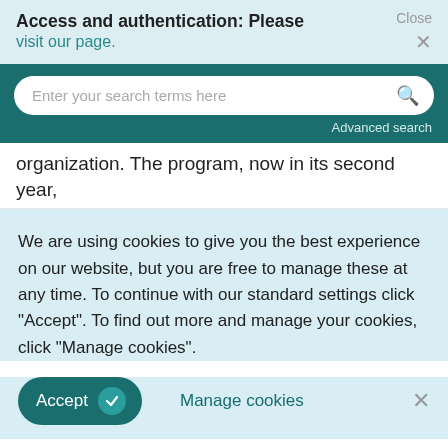Access and authentication: Please visit our page.
[Figure (screenshot): Search bar with placeholder text 'Enter your search terms here' and a magnifying glass icon, on a dark teal background with 'Advanced search' link below]
organization. The program, now in its second year,
We are using cookies to give you the best experience on our website, but you are free to manage these at any time. To continue with our standard settings click "Accept". To find out more and manage your cookies, click "Manage cookies".
Accept   Manage cookies
tools as well as engaging environments for